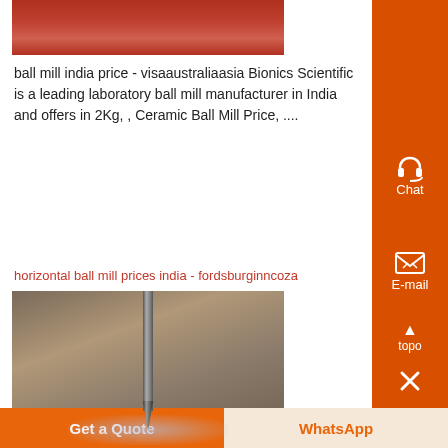[Figure (photo): Top portion of an image - appears to be a red/orange colored industrial or laboratory image]
ball mill india price - visaaustraliaasia Bionics Scientific is a leading laboratory ball mill manufacturer in India and offers in 2Kg, , Ceramic Ball Mill Price, ....
horizontal ball mill prices india - fordsburginncoza
[Figure (photo): A drill bit drilling into a surface with metal shavings/chips visible around the drill point]
Get a Quote
WhatsApp